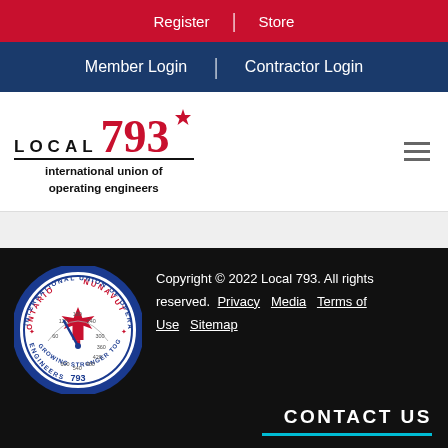Register | Store
Member Login | Contractor Login
[Figure (logo): Local 793 International Union of Operating Engineers logo with maple leaf and 793 text]
[Figure (logo): International Union of Operating Engineers circular badge seal with Ontario Nunavut, maple leaf, gauge, 793, Growing Stronger Together]
Copyright © 2022 Local 793. All rights reserved. Privacy  Media  Terms of Use  Sitemap
CONTACT US